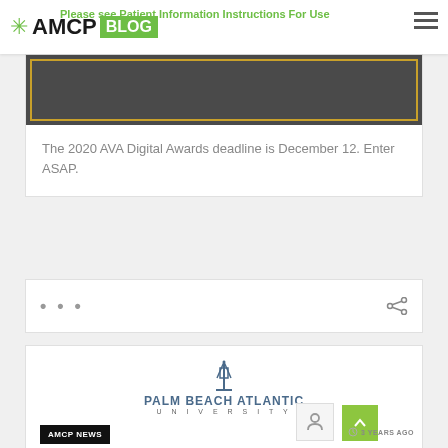AMCP BLOG
[Figure (screenshot): Dark gray banner image with orange/gold border, partially visible with text 'Please see Patient Information Instructions For Use' overlaid in green]
The 2020 AVA Digital Awards deadline is December 12. Enter ASAP.
... share icon
[Figure (logo): Palm Beach Atlantic University logo with lighthouse/tower icon above stylized text]
AMCP NEWS
3 YEARS AGO